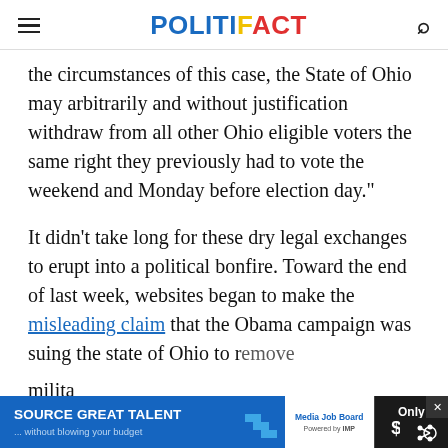POLITIFACT
the circumstances of this case, the State of Ohio may arbitrarily and without justification withdraw from all other Ohio eligible voters the same right they previously had to vote the weekend and Monday before election day."
It didn’t take long for these dry legal exchanges to erupt into a political bonfire. Toward the end of last week, websites began to make the misleading claim that the Obama campaign was suing the state of Ohio to remove military
[Figure (other): Advertisement banner: SOURCE GREAT TALENT ...without blowing your budget | Media Job Board | Only $199]